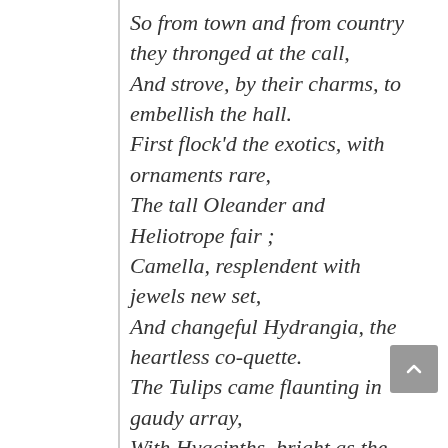So from town and from country they thronged at the call, And strove, by their charms, to embellish the hall. First flock'd the exotics, with ornaments rare, The tall Oleander and Heliotrope fair ; Camella, resplendent with jewels new set, And changeful Hydrangia, the heartless co-quette. The Tulips came flaunting in gaudy array, With Hyacinths, bright as the eye of